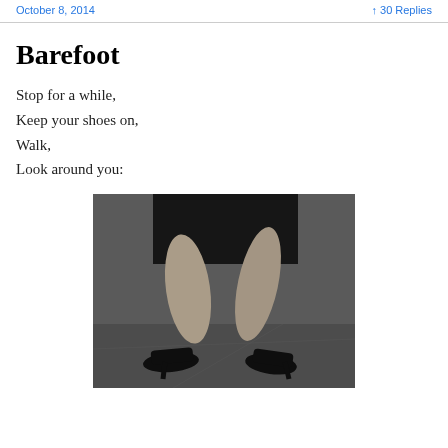October 8, 2014   30 Replies
Barefoot
Stop for a while,
Keep your shoes on,
Walk,
Look around you:
[Figure (photo): Black and white photograph of a woman's legs wearing high heels, walking on a surface, with a dark skirt partially visible. The image is cropped at the knees/mid-thigh level showing two legs mid-stride in black high-heeled pumps.]